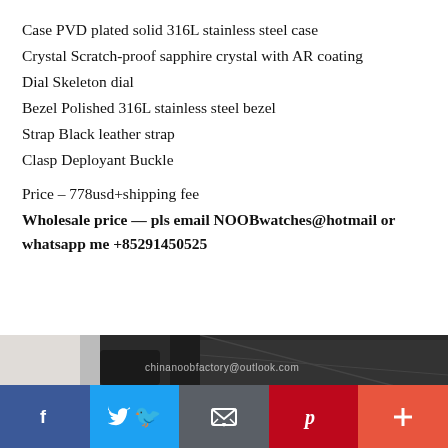Case PVD plated solid 316L stainless steel case
Crystal Scratch-proof sapphire crystal with AR coating
Dial Skeleton dial
Bezel Polished 316L stainless steel bezel
Strap Black leather strap
Clasp Deployant Buckle
Price – 778usd+shipping fee
Wholesale price — pls email NOOBwatches@hotmail or whatsapp me +85291450525
[Figure (photo): Close-up photo of black leather watch strap with stitching, watermark text 'chinanoobfactory@outlook.com' overlaid in white]
[Figure (other): Social media share bar with Facebook (blue), Twitter (light blue), Email (dark gray), Pinterest (red), and More/Plus (orange-red) buttons]